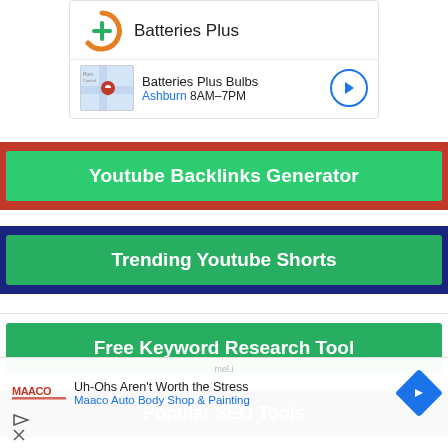[Figure (screenshot): Batteries Plus ad card with logo and map location showing Batteries Plus Bulbs in Ashburn 8AM-7PM]
Youtube Backlinks Generator
Trending Youtube Shorts
Free Keyword Research Tool
Popular SEO Tools
[Figure (screenshot): Maaco Auto Body Shop & Painting advertisement: Uh-Ohs Aren't Worth the Stress]